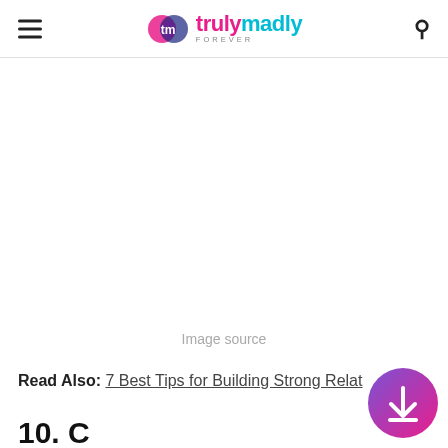trulymadly FOREVER
[Figure (other): Large blank white image area with 'Image source' caption below]
Image source
Read Also: 7 Best Tips for Building Strong Relat...
10. C...